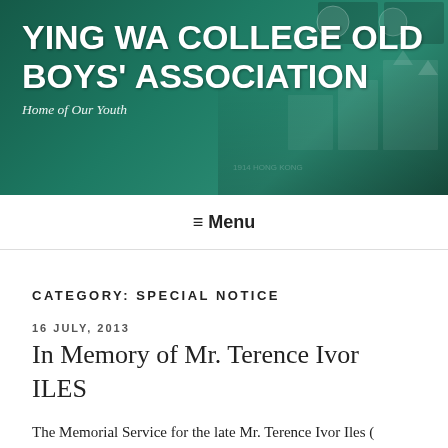[Figure (illustration): Ying Wa College Old Boys' Association banner with green background, historical photos, and building imagery]
YING WA COLLEGE OLD BOYS' ASSOCIATION
Home of Our Youth
Menu
CATEGORY: SPECIAL NOTICE
16 JULY, 2013
In Memory of Mr. Terence Ivor ILES
The Memorial Service for the late Mr. Terence Ivor Iles ( former Ying Wa College Principal 1964-1972 ) was held on 12 July 2013 at 7:00pm in Noble Hall, Ying Wa College at No. 1 Ying Wa Street, Sham Shui Po, Kowloon.